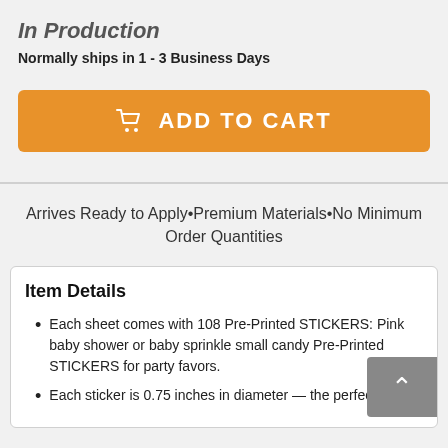In Production
Normally ships in 1 - 3 Business Days
[Figure (other): Orange 'ADD TO CART' button with shopping cart icon]
Arrives Ready to Apply•Premium Materials•No Minimum Order Quantities
Item Details
Each sheet comes with 108 Pre-Printed STICKERS: Pink baby shower or baby sprinkle small candy Pre-Printed STICKERS for party favors.
Each sticker is 0.75 inches in diameter — the perfect fit